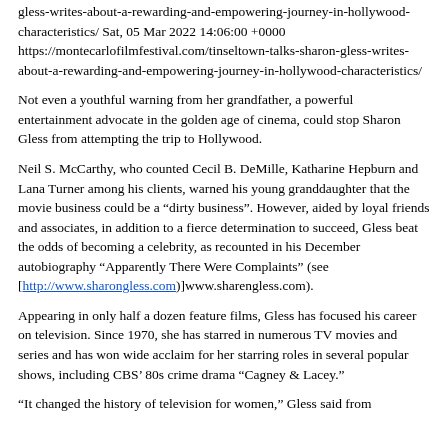gless-writes-about-a-rewarding-and-empowering-journey-in-hollywood-characteristics/ Sat, 05 Mar 2022 14:06:00 +0000 https://montecarlofilmfestival.com/tinseltown-talks-sharon-gless-writes-about-a-rewarding-and-empowering-journey-in-hollywood-characteristics/
Not even a youthful warning from her grandfather, a powerful entertainment advocate in the golden age of cinema, could stop Sharon Gless from attempting the trip to Hollywood.
Neil S. McCarthy, who counted Cecil B. DeMille, Katharine Hepburn and Lana Turner among his clients, warned his young granddaughter that the movie business could be a “dirty business”. However, aided by loyal friends and associates, in addition to a fierce determination to succeed, Gless beat the odds of becoming a celebrity, as recounted in his December autobiography “Apparently There Were Complaints” (see [http://www.sharongless.com)]www.sharengless.com).
Appearing in only half a dozen feature films, Gless has focused his career on television. Since 1970, she has starred in numerous TV movies and series and has won wide acclaim for her starring roles in several popular shows, including CBS’ 80s crime drama “Cagney & Lacey.”
“It changed the history of television for women,” Gless said from